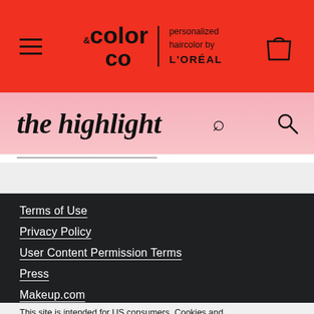[Figure (logo): Color & Co personalized haircolor by L'OREAL logo on red navigation bar with hamburger menu and shopping bag icon]
the highlight
Terms of Use
Privacy Policy
User Content Permission Terms
Press
Makeup.com
This site is intended for US consumers. Cookies and